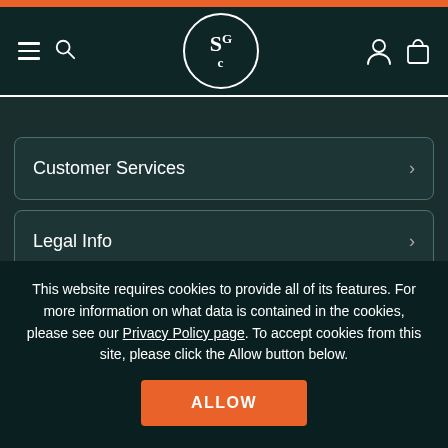[Figure (screenshot): SGC website navigation header with hamburger menu, search icon, SGC logo circle, user account icon, and shopping bag icon on dark teal background]
Customer Services >
Legal Info >
Company Info >
This website requires cookies to provide all of its features. For more information on what data is contained in the cookies, please see our Privacy Policy page. To accept cookies from this site, please click the Allow button below.
ALLOW